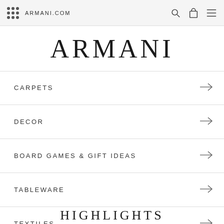ARMANI.COM
ARMANI
CARPETS
DECOR
BOARD GAMES & GIFT IDEAS
TABLEWARE
TEXTILES
HIGHLIGHTS